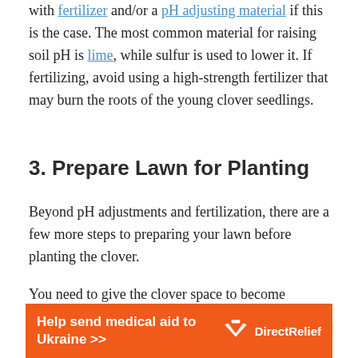with fertilizer and/or a pH adjusting material if this is the case. The most common material for raising soil pH is lime, while sulfur is used to lower it. If fertilizing, avoid using a high-strength fertilizer that may burn the roots of the young clover seedlings.
3. Prepare Lawn for Planting
Beyond pH adjustments and fertilization, there are a few more steps to preparing your lawn before planting the clover.
You need to give the clover space to become established among the existing growth on your lawn. To do so, adjust the height on your mower
[Figure (other): Orange advertisement banner for Direct Relief: 'Help send medical aid to Ukraine >>' with DirectRelief logo]